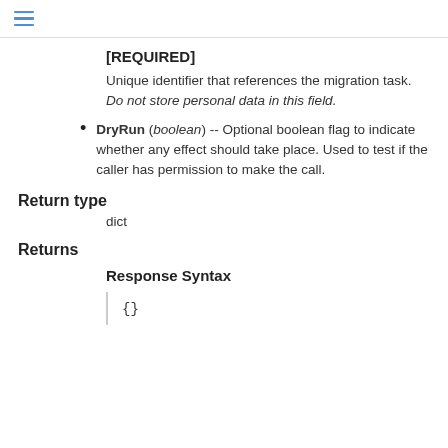[hamburger menu icon]
[REQUIRED]
Unique identifier that references the migration task. Do not store personal data in this field.
DryRun (boolean) -- Optional boolean flag to indicate whether any effect should take place. Used to test if the caller has permission to make the call.
Return type
dict
Returns
Response Syntax
{}